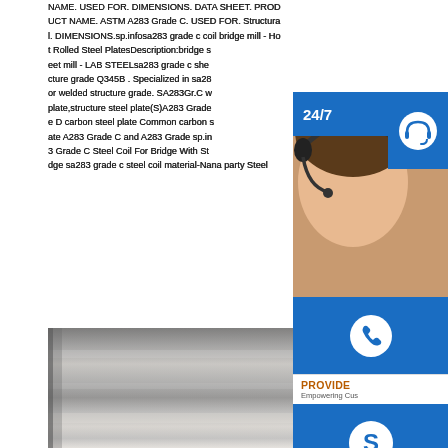NAME. USED FOR. DIMENSIONS. DATA SHEET. PRODUCT NAME. ASTM A283 Grade C. USED FOR. Structural. DIMENSIONS.sp.infosa283 grade c coil bridge mill - Hot Rolled Steel PlatesDescription:bridge sheet mill - LAB STEELsa283 grade c sheet cture grade Q345B . Specialized in sa28 or welded structure grade. SA283Gr.C w plate,structure steel plate(S)A283 Grade e D carbon steel plate Common carbon s ate A283 Grade C and A283 Grade sp.in 3 Grade C Steel Coil For Bridge With St dge sa283 grade c steel coil material-Nana party Steel
[Figure (screenshot): Customer service widget overlay with 24/7 label, headset-wearing agent photo, headset icon, phone icon, Skype icon, PROVIDE Empowering Customers text, and online live button]
[Figure (photo): Photo of steel plate surface showing metallic gray rolled steel material]